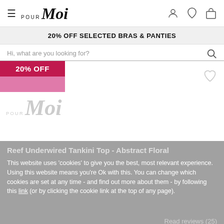[Figure (screenshot): Pour Moi website header with hamburger menu, Pour Moi logo, and icons for account, wishlist, and cart]
20% OFF SELECTED BRAS & PANTIES
Hi, what are you looking for?
[Figure (other): Product image placeholder with 20% OFF badge (crimson/pink), Pour Moi watermark logo, and wishlist heart icon. Product title: Reef Underwired Tankini Top - Abstract Floral]
This website uses 'cookies' to give you the best, most relevant experience. Using this website means you're Ok with this. You can change which cookies are set at any time - and find out more about them - by following this link (or by clicking the cookie link at the top of any page).
Read reviews (25)
OK, I understand